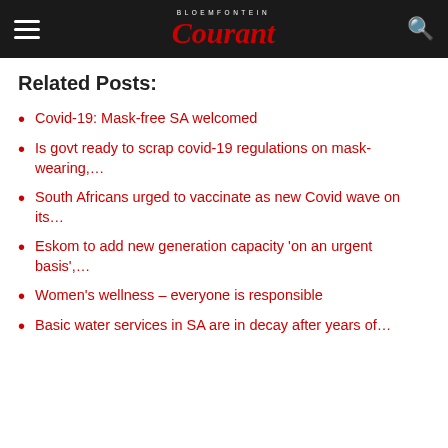Bloemfontein Courant
Related Posts:
Covid-19: Mask-free SA welcomed
Is govt ready to scrap covid-19 regulations on mask-wearing,…
South Africans urged to vaccinate as new Covid wave on its…
Eskom to add new generation capacity 'on an urgent basis',…
Women's wellness – everyone is responsible
Basic water services in SA are in decay after years of…